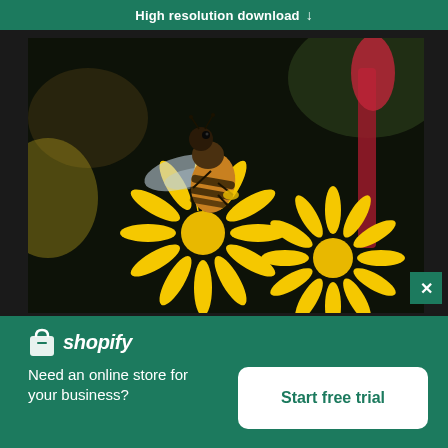High resolution download ↓
[Figure (photo): Close-up macro photo of a honeybee on bright yellow star-shaped flowers (sedum/stonecrop), with blurred dark background and pink/red flower buds visible on the right.]
shopify
Need an online store for your business?
Start free trial